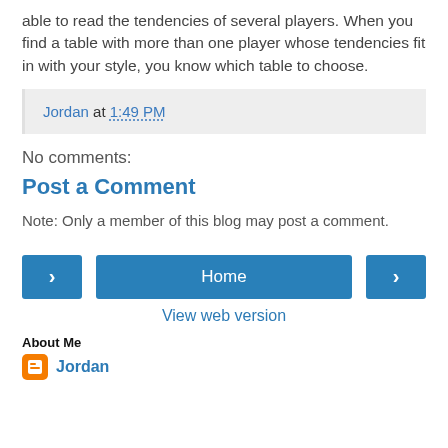able to read the tendencies of several players. When you find a table with more than one player whose tendencies fit in with your style, you know which table to choose.
Jordan at 1:49 PM
No comments:
Post a Comment
Note: Only a member of this blog may post a comment.
< Home > View web version
About Me
Jordan